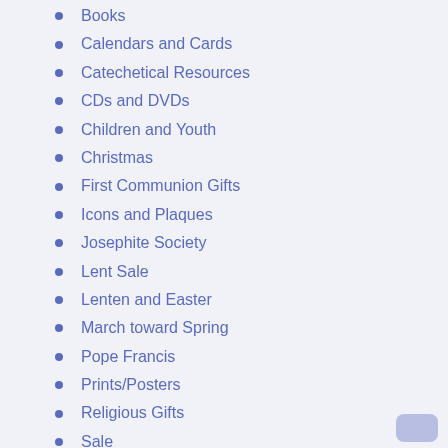Books
Calendars and Cards
Catechetical Resources
CDs and DVDs
Children and Youth
Christmas
First Communion Gifts
Icons and Plaques
Josephite Society
Lent Sale
Lenten and Easter
March toward Spring
Pope Francis
Prints/Posters
Religious Gifts
Sale
Social Justice
Thea Bowman
Uncategorized